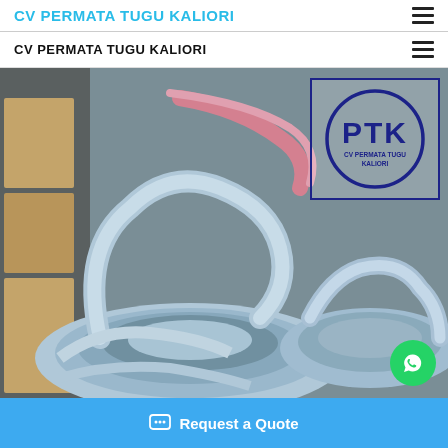CV PERMATA TUGU KALIORI
CV PERMATA TUGU KALIORI
[Figure (photo): Hero image showing rolls/coils of clear PVC flexible hose in a warehouse setting, with a PTK (CV Permata Tugu Kaliori) logo stamp overlay in the upper right portion of the image.]
Request a Quote